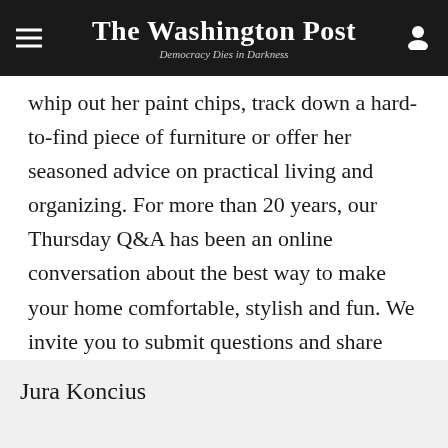The Washington Post — Democracy Dies in Darkness
whip out her paint chips, track down a hard-to-find piece of furniture or offer her seasoned advice on practical living and organizing. For more than 20 years, our Thursday Q&A has been an online conversation about the best way to make your home comfortable, stylish and fun. We invite you to submit questions and share your own great tips, ideas and gripes. No problem is too big or too small.
Jura Koncius